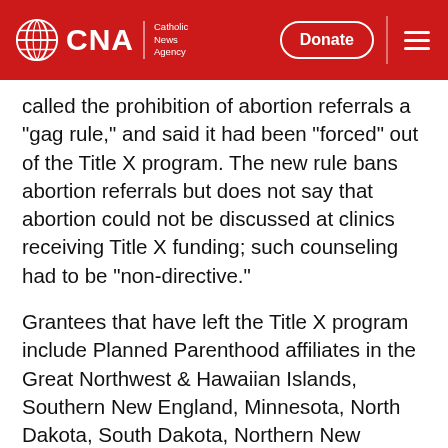CNA Catholic News Agency — Donate
called the prohibition of abortion referrals a "gag rule," and said it had been "forced" out of the Title X program. The new rule bans abortion referrals but does not say that abortion could not be discussed at clinics receiving Title X funding; such counseling had to be "non-directive."
Grantees that have left the Title X program include Planned Parenthood affiliates in the Great Northwest & Hawaiian Islands, Southern New England, Minnesota, North Dakota, South Dakota, Northern New England, Greater Ohio, Illinois, and Utah.